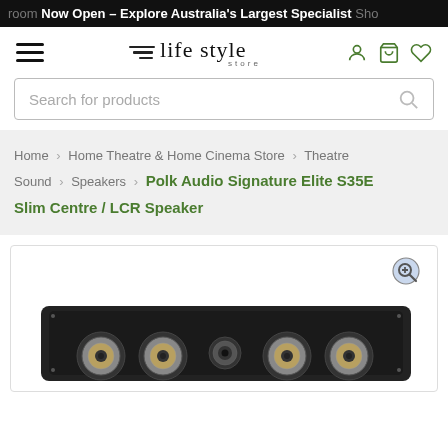room Now Open – Explore Australia's Largest Specialist Sho
[Figure (logo): Life Style Store logo with three diagonal lines and stylized text]
Search for products
Home > Home Theatre & Home Cinema Store > Theatre Sound > Speakers > Polk Audio Signature Elite S35E Slim Centre / LCR Speaker
[Figure (photo): Polk Audio Signature Elite S35E Slim Centre / LCR Speaker — a black rectangular slim center channel speaker with multiple drivers visible from a slight angle]